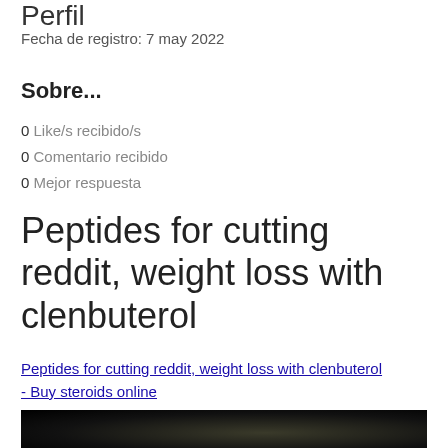Perfil
Fecha de registro: 7 may 2022
Sobre...
0 Like/s recibido/s
0 Comentario recibido
0 Mejor respuesta
Peptides for cutting reddit, weight loss with clenbuterol
Peptides for cutting reddit, weight loss with clenbuterol - Buy steroids online
[Figure (photo): Dark blurred image, partially visible at bottom of page]